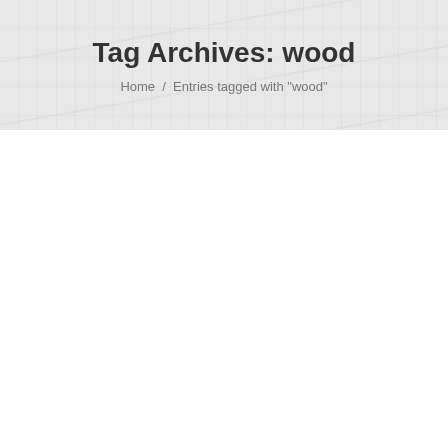Tag Archives: wood
Home / Entries tagged with "wood"